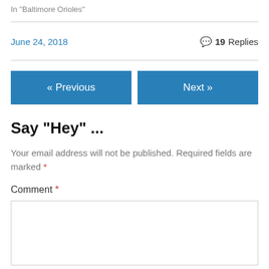In "Baltimore Orioles"
June 24, 2018
19 Replies
« Previous
Next »
Say "Hey" ...
Your email address will not be published. Required fields are marked *
Comment *